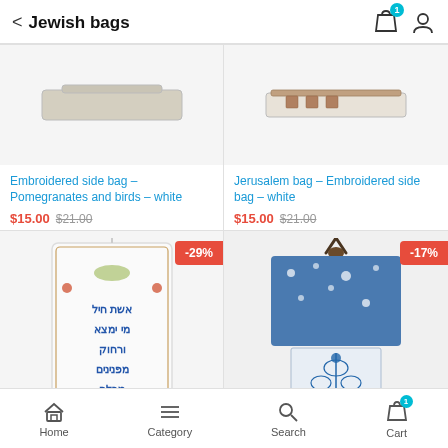Jewish bags
[Figure (photo): Top portion of embroidered side bag in white/beige color]
Embroidered side bag – Pomegranates and birds – white
$15.00  $21.00
[Figure (photo): Top portion of Jerusalem bag – embroidered side bag in white with brown trim]
Jerusalem bag – Embroidered side bag – white
$15.00  $21.00
[Figure (photo): Embroidered white bag with Hebrew text and floral/bird motifs, -29% discount badge]
[Figure (photo): Blue patchwork bag with floral embroidery, -17% discount badge]
Home  Category  Search  Cart